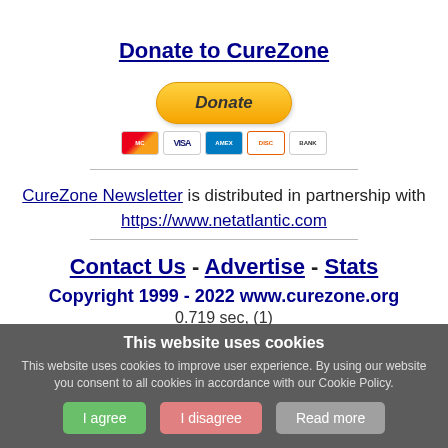Donate to CureZone
[Figure (other): PayPal Donate button with credit card icons (MasterCard, VISA, Amex, Discover, Bank)]
CureZone Newsletter is distributed in partnership with https://www.netatlantic.com
Contact Us - Advertise - Stats
Copyright 1999 - 2022 www.curezone.org
0.719 sec, (1)
This website uses cookies
This website uses cookies to improve user experience. By using our website you consent to all cookies in accordance with our Cookie Policy.
I agree   I disagree   Read more